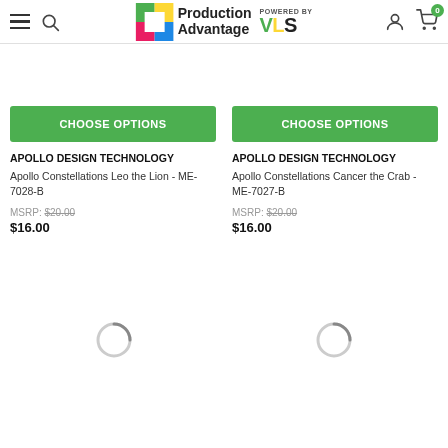Production Advantage POWERED BY VLS
CHOOSE OPTIONS
APOLLO DESIGN TECHNOLOGY
Apollo Constellations Leo the Lion - ME-7028-B
MSRP: $20.00
$16.00
CHOOSE OPTIONS
APOLLO DESIGN TECHNOLOGY
Apollo Constellations Cancer the Crab - ME-7027-B
MSRP: $20.00
$16.00